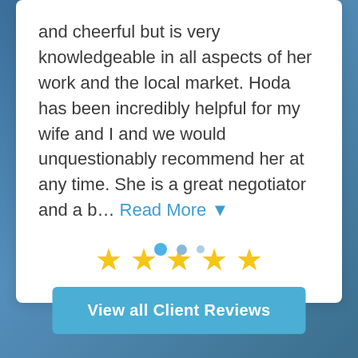and cheerful but is very knowledgeable in all aspects of her work and the local market. Hoda has been incredibly helpful for my wife and I and we would unquestionably recommend her at any time. She is a great negotiator and a b... Read More ▼
[Figure (other): Five gold star rating icons centered below review text]
[Figure (other): Carousel indicator dots: one active blue dot, one medium grey dot, one small grey dot]
View all Client Reviews